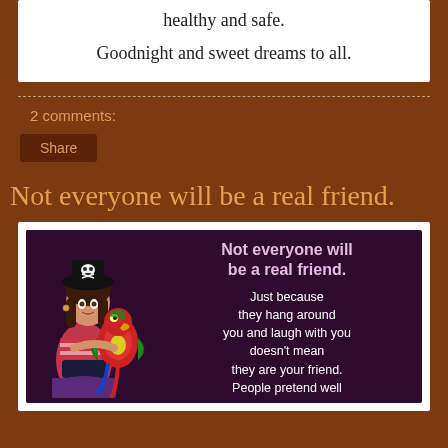healthy and safe.
Goodnight and sweet dreams to all.
2 comments:
Share
Not everyone will be a real friend.
[Figure (illustration): Illustration of a pirate woman character holding a parrot with text overlay reading: 'Not everyone will be a real friend. Just because they hang around you and laugh with you doesn't mean they are your friend. People pretend well']